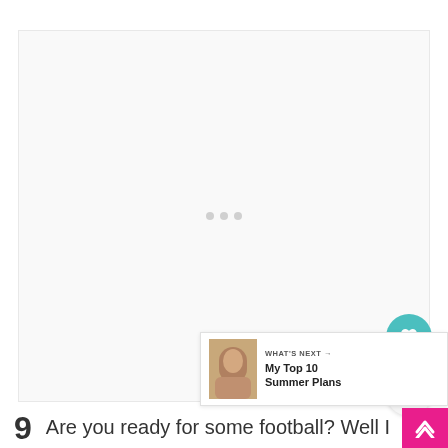[Figure (other): Large white/light gray placeholder image box with three small dots in the center]
[Figure (other): Circular teal heart/favorite button icon]
[Figure (other): Circular share button icon with share symbol]
[Figure (other): What's Next panel with thumbnail image and text 'My Top 10 Summer Plans']
9   Are you ready for some football?  Well I